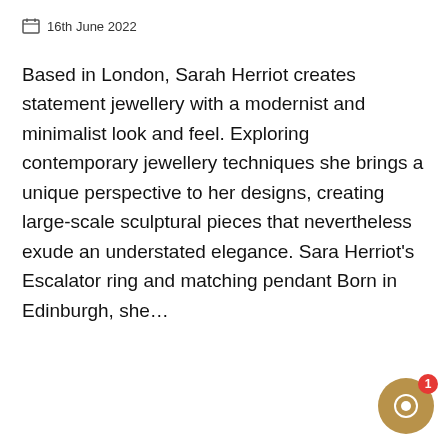16th June 2022
Based in London, Sarah Herriot creates statement jewellery with a modernist and minimalist look and feel. Exploring contemporary jewellery techniques she brings a unique perspective to her designs, creating large-scale sculptural pieces that nevertheless exude an understated elegance. Sara Herriot's Escalator ring and matching pendant Born in Edinburgh, she…
CONTINUE READING
Have a look around. If there is anything I can help you with, please let me know.
Caroline
just now
We use cookies to ensure that we give you the best experience on our website. If you continue to use this site we will assume that you are happy with it.
OK